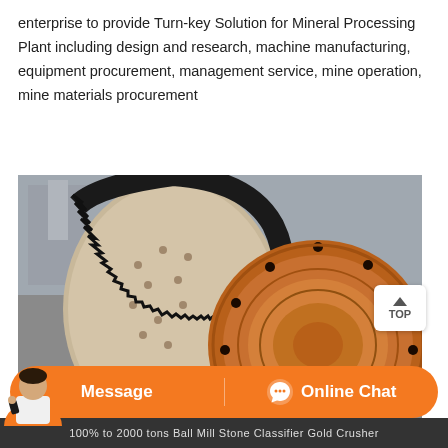enterprise to provide Turn-key Solution for Mineral Processing Plant including design and research, machine manufacturing, equipment procurement, management service, mine operation, mine materials procurement
[Figure (photo): Close-up photograph of a large industrial ball mill showing the rotating drum, large ring gear/girth gear meshing with a pinion, and orange-painted heavy steel end plate with bolt flanges. Industrial machinery in a mining processing facility.]
Message   Online Chat
100% to 2000 tons Ball Mill Stone Classifier Gold Crusher